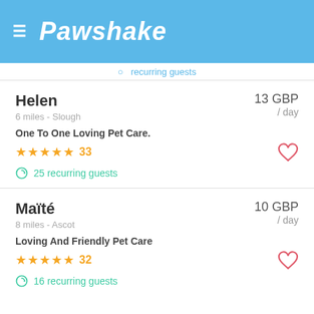Pawshake
recurring guests (partial, cut off at top)
Helen
6 miles - Slough
One To One Loving Pet Care.
★★★★★ 33
25 recurring guests
13 GBP / day
Maïté
8 miles - Ascot
Loving And Friendly Pet Care
★★★★★ 32
16 recurring guests
10 GBP / day